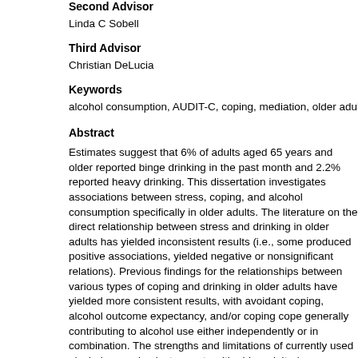Second Advisor
Linda C Sobell
Third Advisor
Christian DeLucia
Keywords
alcohol consumption, AUDIT-C, coping, mediation, older adults, perceived stre…
Abstract
Estimates suggest that 6% of adults aged 65 years and older reported binge drinking in the past month and 2.2% reported heavy drinking. This dissertation investigates associations between stress, coping, and alcohol consumption specifically in older adults. The literature on the direct relationship between stress and drinking in older adults has yielded inconsistent results (i.e., some produced positive associations, yielded negative or nonsignificant relations). Previous findings for the relationships between various types of coping and drinking in older adults have yielded more consistent results, with avoidant coping, alcohol outcome expectancy, and/or coping contribute generally contributing to alcohol use either independently or in combination. The strengths and limitations of currently used alcohol screening instruments with older adults (e.g., Michigan Alcoholism Screening Test-Geriatric Version, CAGE Questionnaire, and Alcohol Use Disorders Identification Test) are also reviewed. Based on the literature, it was hypothesized that (a) lowering the definition of binge drinking to make it more sensitive to older adults would identify more individuals drinking at at-risk levels; (b) perceived stress, coping, and alcohol consumption would correlate with each other; (c) coping would mediate the association between perceived stress and alcohol consumption. The study's sample consisted of 60 independent-living older adults